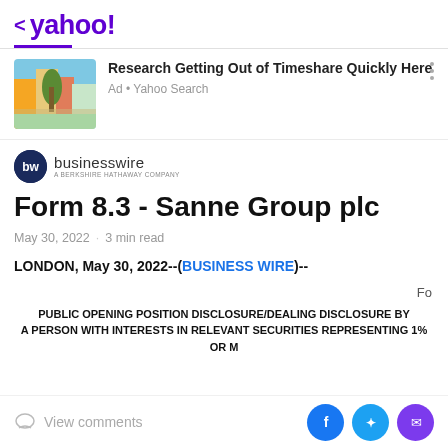< yahoo!
[Figure (screenshot): Advertisement: photo of colorful buildings with palm tree, promoting 'Research Getting Out of Timeshare Quickly Here', Ad • Yahoo Search]
[Figure (logo): BusinessWire - A Berkshire Hathaway Company logo]
Form 8.3 - Sanne Group plc
May 30, 2022 · 3 min read
LONDON, May 30, 2022--(BUSINESS WIRE)--
Fo
PUBLIC OPENING POSITION DISCLOSURE/DEALING DISCLOSURE BY A PERSON WITH INTERESTS IN RELEVANT SECURITIES REPRESENTING 1% OR M
View comments